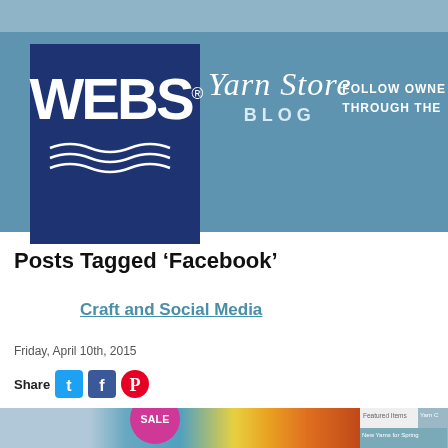[Figure (logo): WEBS Yarn Store Blog header banner with WEBS logo on dark navy blue background, Yarn Store Blog script text on steel blue background, and 'FOLLOW OWNER THROUGH THEIR' text on the right]
Posts Tagged ‘Facebook’
Craft and Social Media
Friday, April 10th, 2015
Share
[Figure (screenshot): Bottom strip showing yarn products with SALE badge, and website navigation tabs: Featured Items, New Yarns for Spring, Yarn C...]